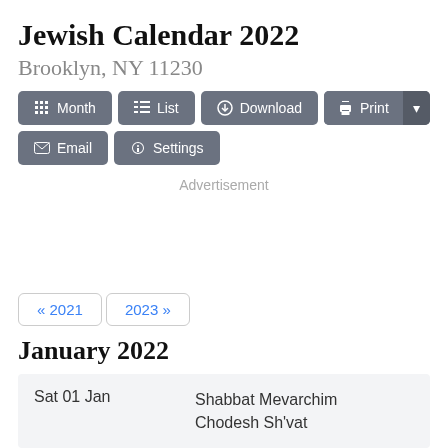Jewish Calendar 2022
Brooklyn, NY 11230
[Figure (screenshot): Toolbar with buttons: Month, List, Download, Print, Email, Settings]
Advertisement
« 2021   2023 »
January 2022
| Date | Event |
| --- | --- |
| Sat 01 Jan | Shabbat Mevarchim Chodesh Sh'vat |